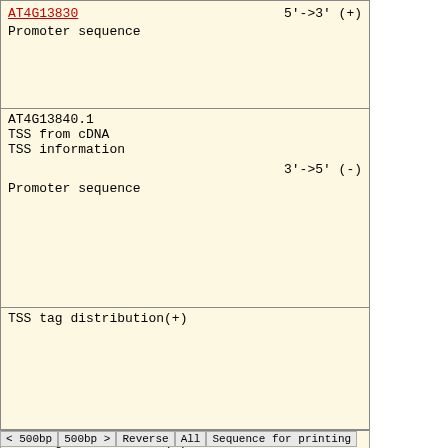AT4G13830
Promoter sequence
5'->3' (+)
AT4G13840.1
TSS from cDNA
TSS information
3'->5' (-)
Promoter sequence
TSS tag distribution(+)
TSS tag distribution(-)
< 500bp  500bp >  Reverse  All  Sequence for printing